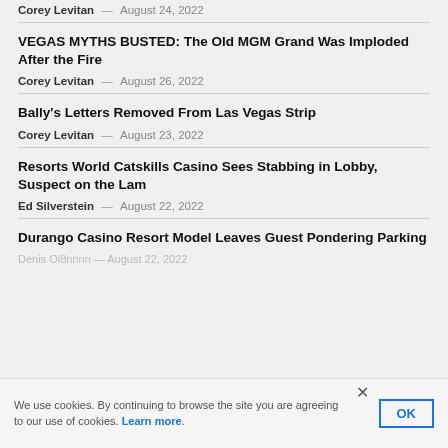Corey Levitan  —  August 24, 2022
VEGAS MYTHS BUSTED: The Old MGM Grand Was Imploded After the Fire
Corey Levitan  —  August 26, 2022
Bally's Letters Removed From Las Vegas Strip
Corey Levitan  —  August 23, 2022
Resorts World Catskills Casino Sees Stabbing in Lobby, Suspect on the Lam
Ed Silverstein  —  August 22, 2022
Durango Casino Resort Model Leaves Guest Pondering Parking
Denis Ol8nnnn  —  August 22, 2022
We use cookies. By continuing to browse the site you are agreeing to our use of cookies. Learn more.